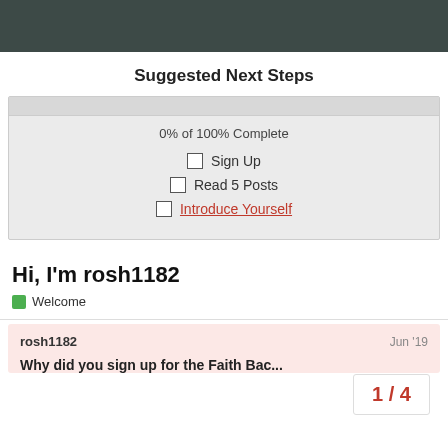Suggested Next Steps
0% of 100% Complete
Sign Up
Read 5 Posts
Introduce Yourself
Hi, I'm rosh1182
Welcome
rosh1182   Jun '19
1 / 4
Why did you sign up for the Faith Bac...